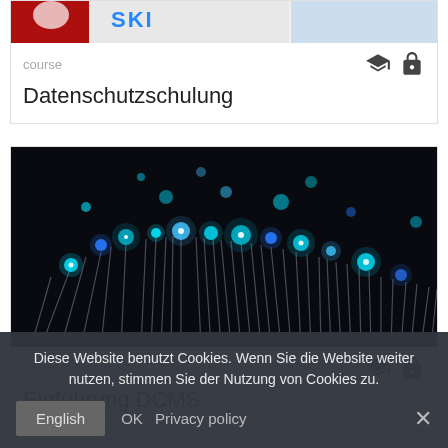[Figure (screenshot): Partial course card image at top (cropped), showing colorful graphic with red, white and blue elements]
course
Datenschutzschulung
[Figure (photo): Fiber optic cables with glowing blue and cyan light dots on black background]
course
Einführung DCMS
Diese Website benutzt Cookies. Wenn Sie die Website weiter nutzen, stimmen Sie der Nutzung von Cookies zu.
English
OK  Privacy policy